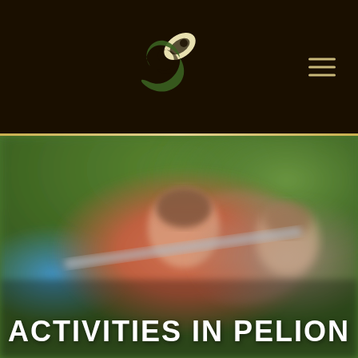[Figure (logo): Green and cream leaf/infinity loop logo mark]
[Figure (photo): Blurred outdoor photo of people kayaking with paddles, lush green trees in background, woman in red top smiling in foreground]
ACTIVITIES IN PELION